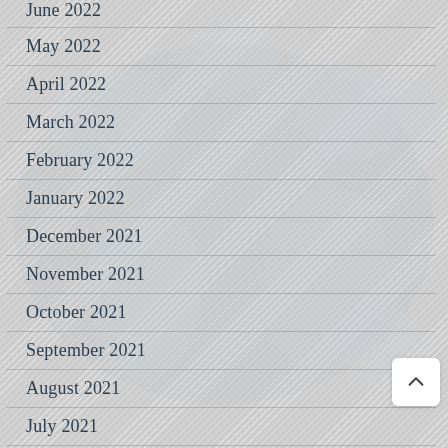June 2022
May 2022
April 2022
March 2022
February 2022
January 2022
December 2021
November 2021
October 2021
September 2021
August 2021
July 2021
[Figure (illustration): Faint world map watermark visible in the background behind the list items]